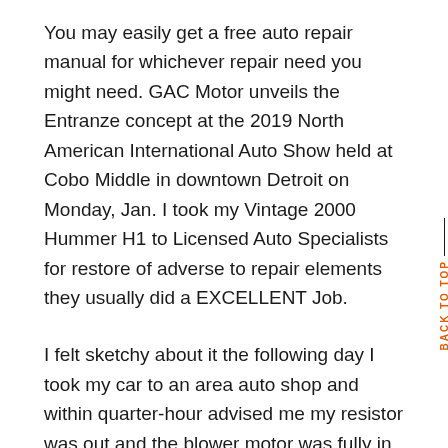You may easily get a free auto repair manual for whichever repair need you might need. GAC Motor unveils the Entranze concept at the 2019 North American International Auto Show held at Cobo Middle in downtown Detroit on Monday, Jan. I took my Vintage 2000 Hummer H1 to Licensed Auto Specialists for restore of adverse to repair elements they usually did a EXCELLENT Job.
I felt sketchy about it the following day I took my car to an area auto shop and within quarter-hour advised me my resistor was out and the blower motor was fully in tact. Crowds of people stroll through shows at Cobo Center for the 2019 North American Worldwide Auto Present on Saturday, January 19, 2019.